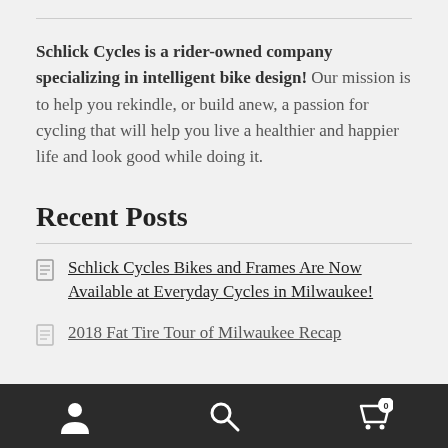Schlick Cycles is a rider-owned company specializing in intelligent bike design! Our mission is to help you rekindle, or build anew, a passion for cycling that will help you live a healthier and happier life and look good while doing it.
Recent Posts
Schlick Cycles Bikes and Frames Are Now Available at Everyday Cycles in Milwaukee!
2018 Fat Tire Tour of Milwaukee Recap